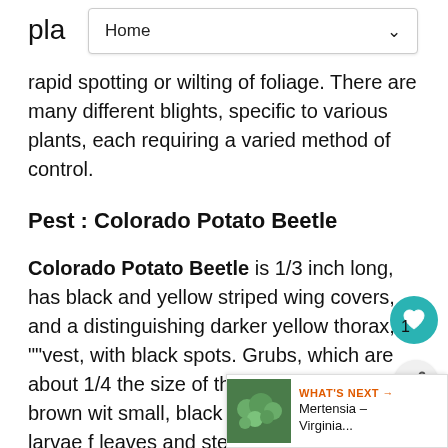Home
rapid spotting or wilting of foliage. There are many different blights, specific to various plants, each requiring a varied method of control.
Pest : Colorado Potato Beetle
Colorado Potato Beetle is 1/3 inch long, has black and yellow striped wing covers, and a distinguishing darker yellow thorax, or ""vest", with black spots. Grubs, which are about 1/4 the size of the adult, are reddish-brown with small, black spots. Adults and larvae feed on leaves and stems, leaving behind black excrement. Their voracious feeding habits can